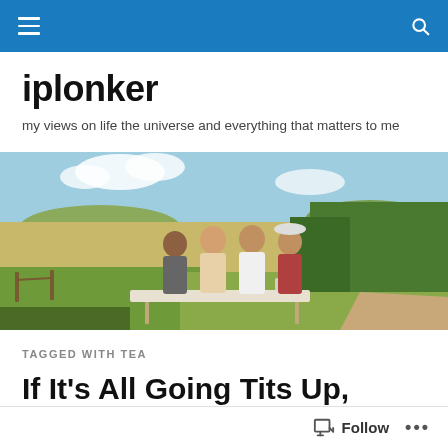Navigation bar with hamburger menu and search icon
iplonker
my views on life the universe and everything that matters to me
[Figure (photo): Group of four people standing together outdoors at a table set for a meal, with open fields and trees in the background under a partly cloudy sky]
TAGGED WITH TEA
If It's All Going Tits Up, Have a Cup of Tea
Follow